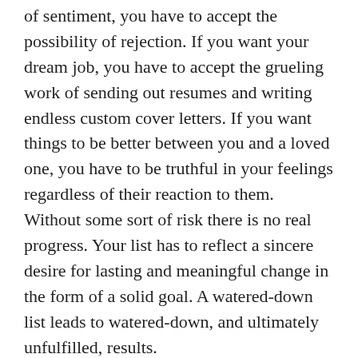of sentiment, you have to accept the possibility of rejection. If you want your dream job, you have to accept the grueling work of sending out resumes and writing endless custom cover letters. If you want things to be better between you and a loved one, you have to be truthful in your feelings regardless of their reaction to them. Without some sort of risk there is no real progress. Your list has to reflect a sincere desire for lasting and meaningful change in the form of a solid goal. A watered-down list leads to watered-down, and ultimately unfulfilled, results.
Step three: GAIN SUPPORT. There are few things better than a cheering section when you're going for that winning score. This step isn't so much about forming a fan club as it is making sure that you're surrounding yourself with positive influences; people who believe in you. These people are generally family and very close